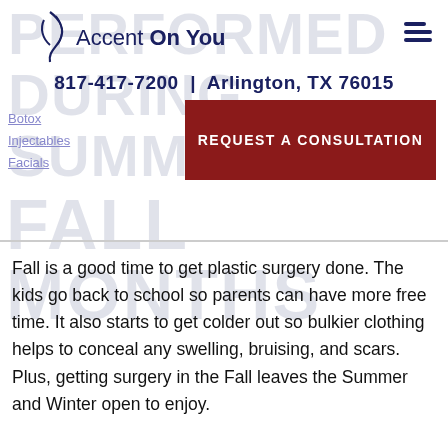Accent On You | 817-417-7200 | Arlington, TX 76015
REQUEST A CONSULTATION
FALL MONTHS
Fall is a good time to get plastic surgery done. The kids go back to school so parents can have more free time. It also starts to get colder out so bulkier clothing helps to conceal any swelling, bruising, and scars. Plus, getting surgery in the Fall leaves the Summer and Winter open to enjoy.